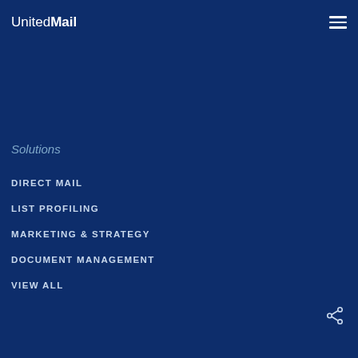UnitedMail
Solutions
DIRECT MAIL
LIST PROFILING
MARKETING & STRATEGY
DOCUMENT MANAGEMENT
VIEW ALL